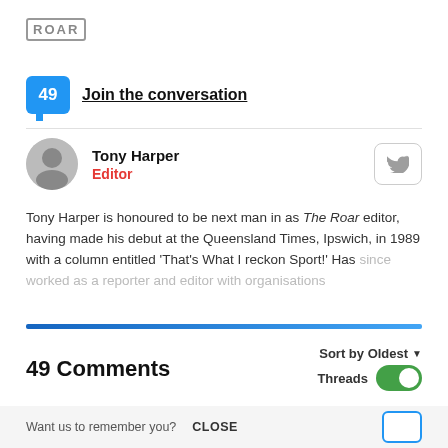[Figure (logo): ROAR logo in a rectangular outlined box]
49 Join the conversation
Tony Harper
Editor
Tony Harper is honoured to be next man in as The Roar editor, having made his debut at the Queensland Times, Ipswich, in 1989 with a column entitled 'That's What I reckon Sport!' Has since worked as a reporter and editor with organisations
49 Comments
Sort by Oldest ▼
Threads
Want us to remember you?   CLOSE